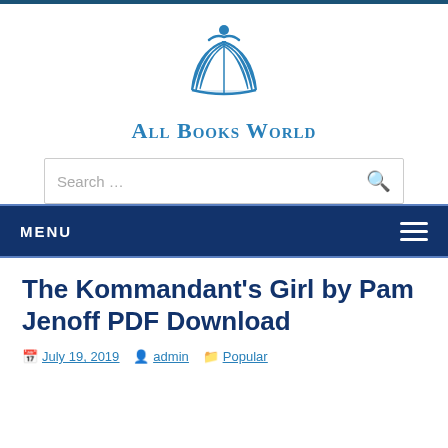[Figure (logo): All Books World logo: open book with a figure above, blue color]
All Books World
Search …
MENU
The Kommandant's Girl by Pam Jenoff PDF Download
July 19, 2019  admin  Popular